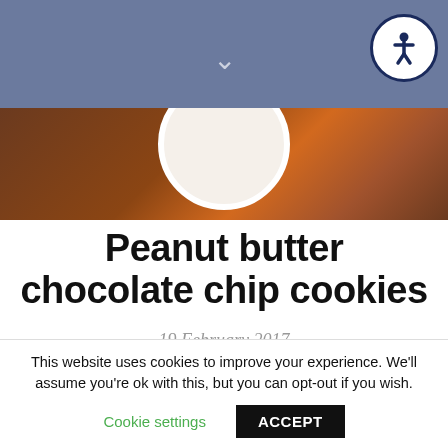navigation bar with chevron down and accessibility button
[Figure (photo): Photo of baked cookies on a wooden surface with a white plate visible at top]
Peanut butter chocolate chip cookies
19 February 2017
So, I am a terribly unorganised blogger. I usually forget to take photos of baked goods for recipes, and when I do remember I've usually missed the natural goodness of daylight so they look terrible
This website uses cookies to improve your experience. We'll assume you're ok with this, but you can opt-out if you wish.
Cookie settings   ACCEPT